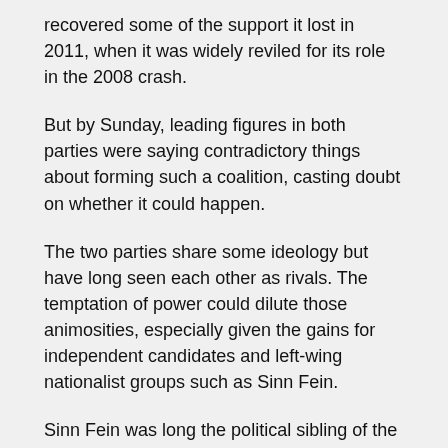recovered some of the support it lost in 2011, when it was widely reviled for its role in the 2008 crash.
But by Sunday, leading figures in both parties were saying contradictory things about forming such a coalition, casting doubt on whether it could happen.
The two parties share some ideology but have long seen each other as rivals. The temptation of power could dilute those animosities, especially given the gains for independent candidates and left-wing nationalist groups such as Sinn Fein.
Sinn Fein was long the political sibling of the IRA, which wage a three-decade bombing campaign to try to end British rule in Northern Ireland. Since a 1998 peace deal, Sinn Fein has made incremental gains in the independent Republic of Ireland and will lead the opposition if the two center-right parties form a governing coalition.
While meeting farmers in Castlerea, a town in the west of Ireland